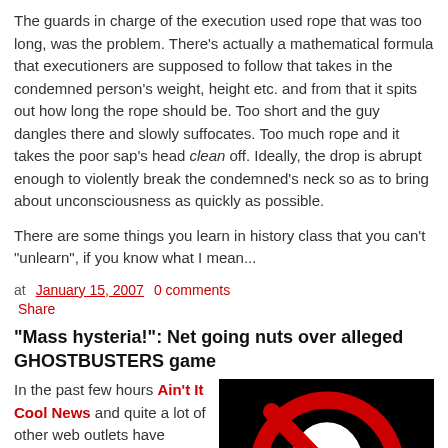The guards in charge of the execution used rope that was too long, was the problem. There's actually a mathematical formula that executioners are supposed to follow that takes in the condemned person's weight, height etc. and from that it spits out how long the rope should be. Too short and the guy dangles there and slowly suffocates. Too much rope and it takes the poor sap's head clean off. Ideally, the drop is abrupt enough to violently break the condemned's neck so as to bring about unconsciousness as quickly as possible.

There are some things you learn in history class that you can't "unlearn", if you know what I mean...
at January 15, 2007   0 comments   Share
"Mass hysteria!": Net going nuts over alleged GHOSTBUSTERS game
In the past few hours Ain't It Cool News and quite a lot of other web outlets have passed on word about this... thing, that may or may not be a new...
[Figure (photo): Ghostbusters logo — red ghost with X through it on black background]